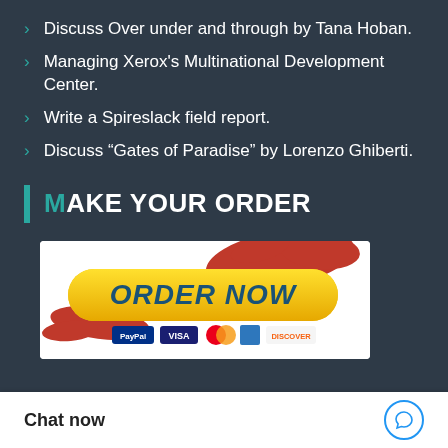Discuss Over under and through by Tana Hoban.
Managing Xerox's Multinational Development Center.
Write a Spireslack field report.
Discuss “Gates of Paradise” by Lorenzo Ghiberti.
MAKE YOUR ORDER
[Figure (illustration): Yellow ORDER NOW button with red splatter effect and payment method logos (PayPal, Visa, Mastercard, Amex, Discover) below on white background]
Chat now